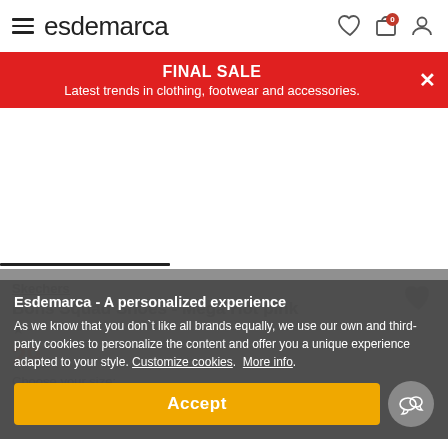esdemarca
FINAL SALE
Latest trends in clothing, footwear and accessories.
[Figure (screenshot): White product image area - blank space for product photo]
Skechers
Bons Squad Shoes - Mega Hot pink
29
Choose your size:
Esdemarca - A personalized experience
As we know that you don`t like all brands equally, we use our own and third-party cookies to personalize the content and offer you a unique experience adapted to your style. Customize cookies. More info.
Accept